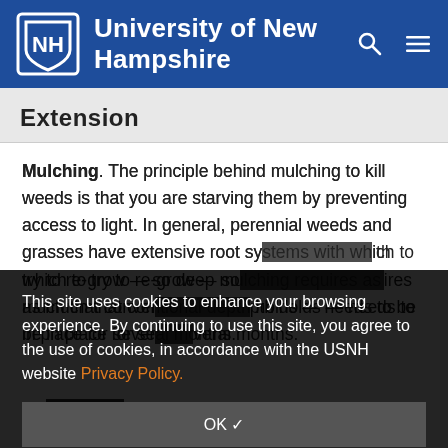University of New Hampshire
Extension
Mulching. The principle behind mulching to kill weeds is that you are starving them by preventing access to light. In general, perennial weeds and grasses have extensive root systems with which to try to re-grow — so deep mulching requires as much that conventional depth holds — needs to be in place for several months.
This site uses cookies to enhance your browsing experience. By continuing to use this site, you agree to the use of cookies, in accordance with the USNH website Privacy Policy.
OK ✓
Mulch with a (6-mil or heavier) piece of black plastic, weighted down along the edges with heavy rocks or sandbags. As long as the plastic is